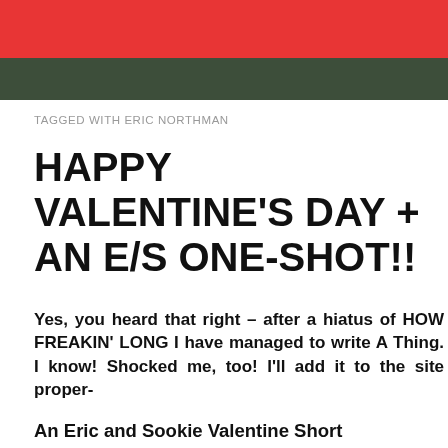[Figure (photo): Red header bar and dark image area at top of blog page]
TAGGED WITH ERIC NORTHMAN
HAPPY VALENTINE'S DAY + AN E/S ONE-SHOT!!
Yes, you heard that right – after a hiatus of HOW FREAKIN' LONG I have managed to write A Thing. I know! Shocked me, too! I'll add it to the site proper-
Privacy & Cookies: This site uses cookies. By continuing to use this website, you agree to their use.
To find out more, including how to control cookies, see here: Cookie Policy
Close and accept
An Eric and Sookie Valentine Short